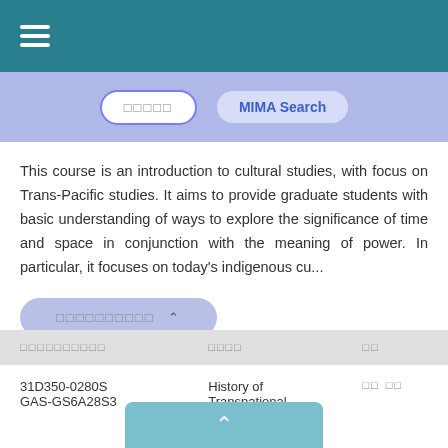[Figure (screenshot): Teal header bar with hamburger menu icon (three white horizontal lines)]
[Figure (screenshot): Light purple navigation bar with two buttons: a white outlined button with placeholder text (Japanese/CJK characters shown as boxes) and a filled button labeled 'MIMA Search']
This course is an introduction to cultural studies, with focus on Trans-Pacific studies. It aims to provide graduate students with basic understanding of ways to explore the significance of time and space in conjunction with the meaning of power. In particular, it focuses on today's indigenous cu...
[Figure (screenshot): Light purple rounded pill-shaped expand button with placeholder text and an up-arrow chevron]
| □□□□□□□□□□ | □□□□ | □□ |
| --- | --- | --- |
| 31D350-0280S GAS-GS6A28S3 | History of Transnational Markets and Civil | □□  □□ |
[Figure (screenshot): Teal scroll-up button at bottom center with white up-arrow chevron]